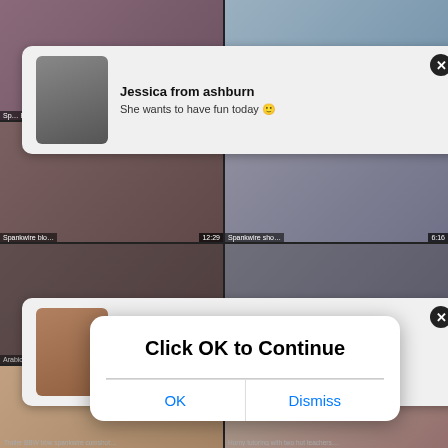[Figure (screenshot): Adult video website with grid of video thumbnails, two notification pop-ups, and a browser dialog overlay saying 'Click OK to Continue' with OK and Dismiss buttons.]